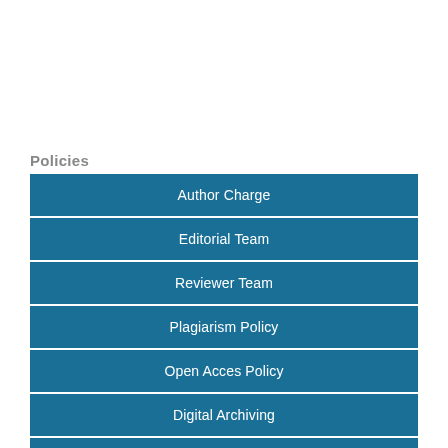Policies
Author Charge
Editorial Team
Reviewer Team
Plagiarism Policy
Open Acces Policy
Digital Archiving
Copyright Notice